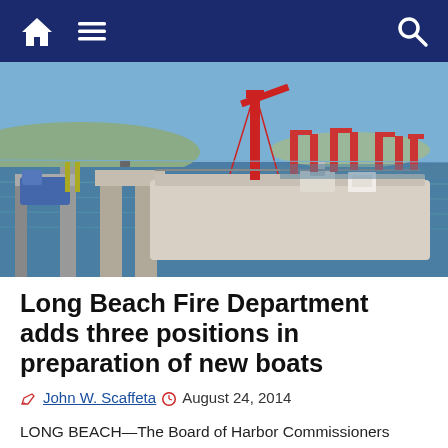Navigation bar with home, menu, and search icons
[Figure (photo): A fire department boat docked at a harbor with red cranes and industrial port infrastructure visible in the background across the water. The boat has a prominent red crane/mast structure on its deck.]
Long Beach Fire Department adds three positions in preparation of new boats
John W. Scaffeta  August 24, 2014
LONG BEACH—The Board of Harbor Commissioners approved the addition of three new Fire Department positions in anticipation of the arrival